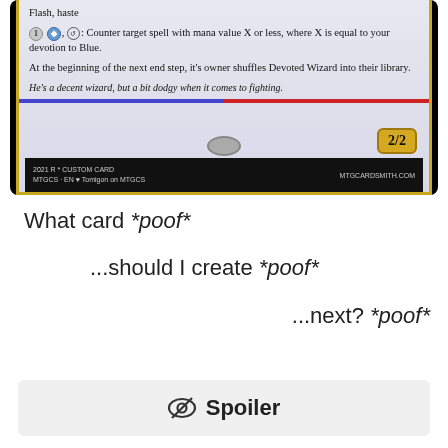[Figure (illustration): Custom Magic: The Gathering card showing card text box. Text reads: Flash, haste. 1 Blue tap: Counter target spell with mana value X or less, where X is equal to your devotion to Blue. At the beginning of the next end step, it's owner shuffles Devoted Wizard into their library. Flavor text: He's a decent wizard, but a bit dodgy when it comes to fighting. Power/Toughness: 2/2. Footer: 2021 R * CUSTOM CARD MTGCS EN Tomigon on MTGCS MTGCARDSMITH.COM]
What card *poof*
...should I create *poof*
...next? *poof*
Spoiler